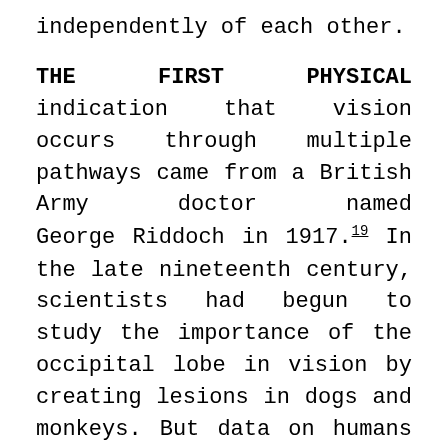independently of each other.
THE FIRST PHYSICAL indication that vision occurs through multiple pathways came from a British Army doctor named George Riddoch in 1917.[19] In the late nineteenth century, scientists had begun to study the importance of the occipital lobe in vision by creating lesions in dogs and monkeys. But data on humans was scarce. Then came World War I. Suddenly the Germans were turning British soldiers into promising research subjects at an alarming pace. This was partly because British helmets tended to dance atop the soldiers' heads, which might have looked fashionable but didn't cover them very well, especially in the back. Also, the